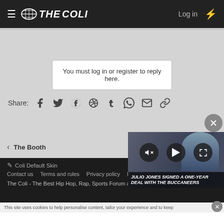The Coli - Sports, Hip Hop & Live
You must log in or register to reply here.
Share:
The Booth
Coli Default Skin
Contact us   Terms and rules   Privacy policy   H...
The Coli - The Best Hip Hop, Rap, Sports Forum and Message Board
This site uses cookies to help personalise content, tailor your experience and to keep
[Figure (screenshot): Video player overlay showing an NFL player with controls (mute, play, fullscreen) and caption: JULIO JONES SIGNED A ONE-YEAR DEAL WITH THE BUCCANEERS]